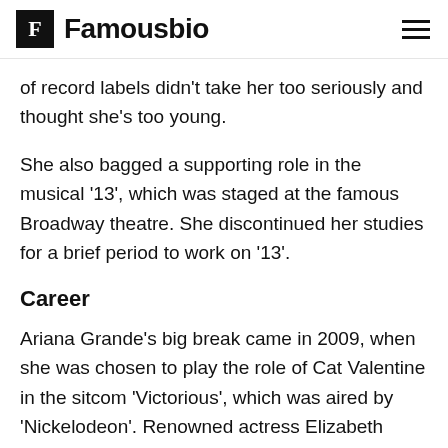Famousbio
of record labels didn't take her too seriously and thought she's too young.
She also bagged a supporting role in the musical '13', which was staged at the famous Broadway theatre. She discontinued her studies for a brief period to work on '13'.
Career
Ariana Grande's big break came in 2009, when she was chosen to play the role of Cat Valentine in the sitcom 'Victorious', which was aired by 'Nickelodeon'. Renowned actress Elizabeth